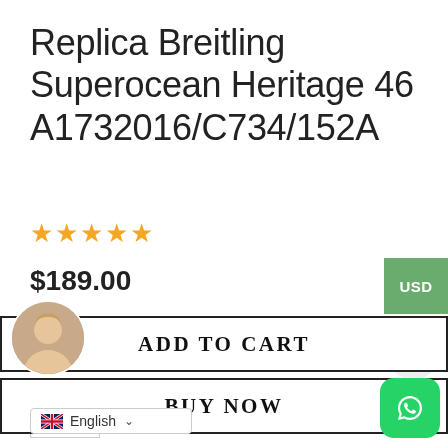Replica Breitling Superocean Heritage 46 A1732016/C734/152A
[Figure (other): Five gold star rating icons]
$189.00
United States (US) dollar
1
ADD TO CART
BUY NOW
[Figure (photo): Profile avatar of a woman with blonde hair]
[Figure (logo): WhatsApp logo green button]
English